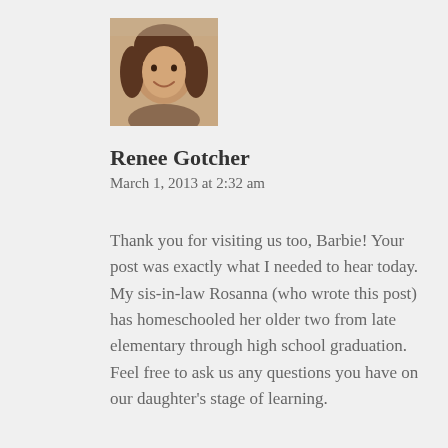[Figure (photo): Profile photo of a woman with brown hair, smiling, against an outdoor background.]
Renee Gotcher
March 1, 2013 at 2:32 am
Thank you for visiting us too, Barbie! Your post was exactly what I needed to hear today. My sis-in-law Rosanna (who wrote this post) has homeschooled her older two from late elementary through high school graduation. Feel free to ask us any questions you have on our daughter's stage of learning.